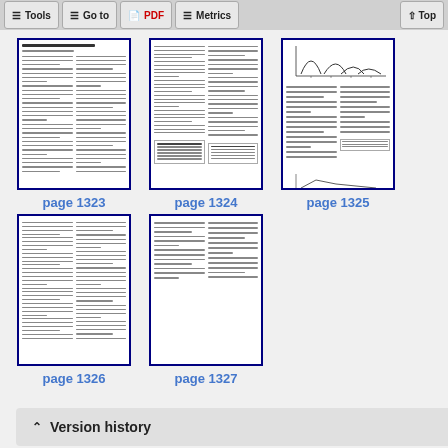Tools | Go to | PDF | Metrics | Top
[Figure (screenshot): Thumbnail of page 1323 - scientific paper with two-column text layout]
page 1323
[Figure (screenshot): Thumbnail of page 1324 - scientific paper with two-column text and table]
page 1324
[Figure (screenshot): Thumbnail of page 1325 - scientific paper with chart/graph at top and two-column text]
page 1325
[Figure (screenshot): Thumbnail of page 1326 - scientific paper with two-column text layout]
page 1326
[Figure (screenshot): Thumbnail of page 1327 - scientific paper with partial two-column text, mostly blank lower half]
page 1327
Version history